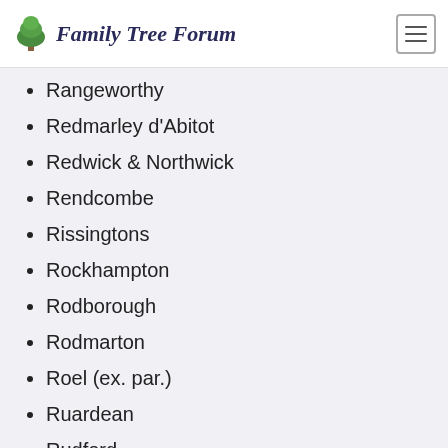Family Tree Forum
Rangeworthy
Redmarley d'Abitot
Redwick & Northwick
Rendcombe
Rissingtons
Rockhampton
Rodborough
Rodmarton
Roel (ex. par.)
Ruardean
Rudford
Gloucestershire Towns and Villages S
Back to Top